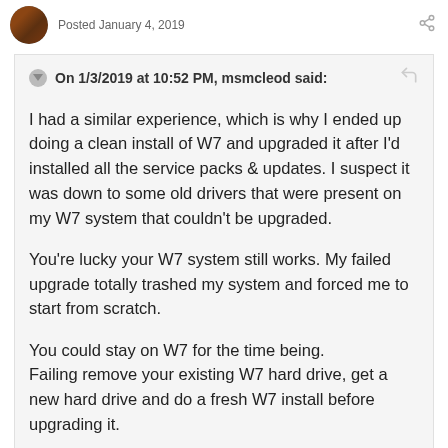Posted January 4, 2019
On 1/3/2019 at 10:52 PM, msmcleod said:
I had a similar experience, which is why I ended up doing a clean install of W7 and upgraded it after I'd installed all the service packs & updates. I suspect it was down to some old drivers that were present on my W7 system that couldn't be upgraded.
You're lucky your W7 system still works. My failed upgrade totally trashed my system and forced me to start from scratch.
You could stay on W7 for the time being.
Failing remove your existing W7 hard drive, get a new hard drive and do a fresh W7 install before upgrading it.